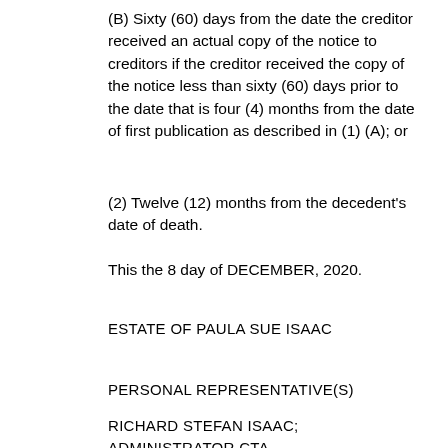(B) Sixty (60) days from the date the creditor received an actual copy of the notice to creditors if the creditor received the copy of the notice less than sixty (60) days prior to the date that is four (4) months from the date of first publication as described in (1) (A); or
(2) Twelve (12) months from the decedent's date of death.
This the 8 day of DECEMBER, 2020.
ESTATE OF PAULA SUE ISAAC
PERSONAL REPRESENTATIVE(S)
RICHARD STEFAN ISAAC; ADMINISTRATOR CTA